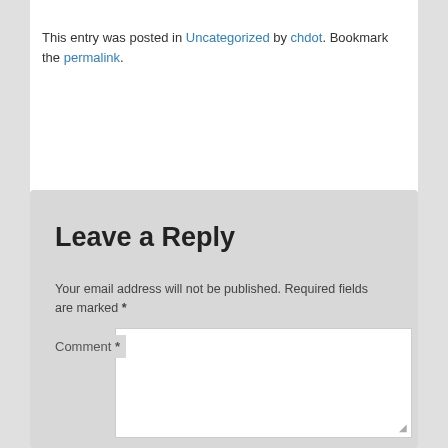This entry was posted in Uncategorized by chdot. Bookmark the permalink.
Leave a Reply
Your email address will not be published. Required fields are marked *
Comment *